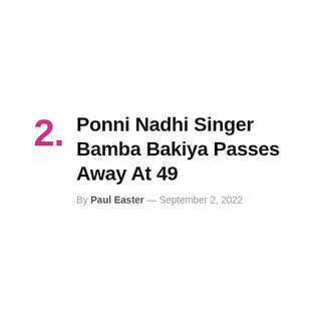Ponni Nadhi Singer Bamba Bakiya Passes Away At 49
By Paul Easter — September 2, 2022